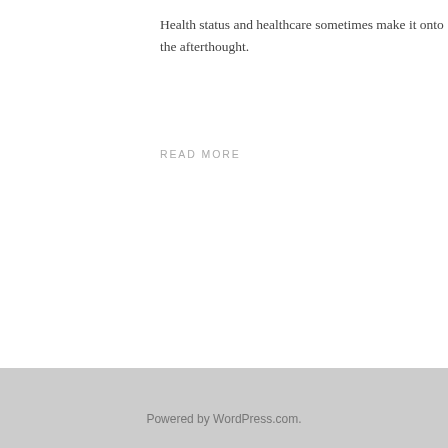Health status and healthcare sometimes make it onto the afterthought.
READ MORE
Powered by WordPress.com.